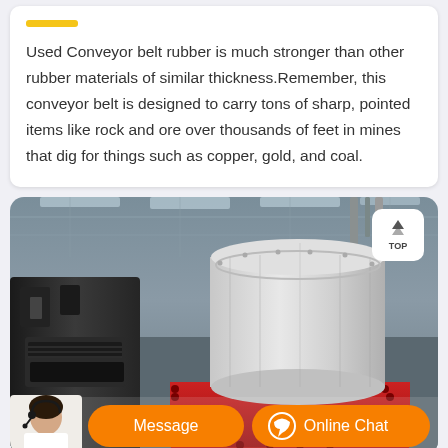Used Conveyor belt rubber is much stronger than other rubber materials of similar thickness.Remember, this conveyor belt is designed to carry tons of sharp, pointed items like rock and ore over thousands of feet in mines that dig for things such as copper, gold, and coal.
[Figure (photo): Photo of large industrial mining/conveyor machinery (crusher or pulley drum) in a factory/warehouse setting, shot from below looking up. A cylindrical metal drum with red base is visible, along with black machinery on the left. A 'TOP' button is in the upper right corner. At the bottom: an avatar of a woman with headset, an orange 'Message' button, and an orange 'Online Chat' button.]